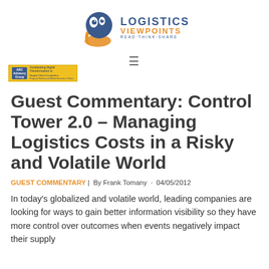Logistics Viewpoints - READ·THINK·SHARE
[Figure (logo): Logistics Viewpoints logo with stylized bird/eye graphic and text 'LOGISTICS VIEWPOINTS READ·THINK·SHARE']
[Figure (logo): ARC Advisory Group banner with yellow background and small text about digital transformation in supply chain and logistics]
Guest Commentary: Control Tower 2.0 – Managing Logistics Costs in a Risky and Volatile World
GUEST COMMENTARY | By Frank Tomany · 04/05/2012
In today's globalized and volatile world, leading companies are looking for ways to gain better information visibility so they have more control over outcomes when events negatively impact their supply